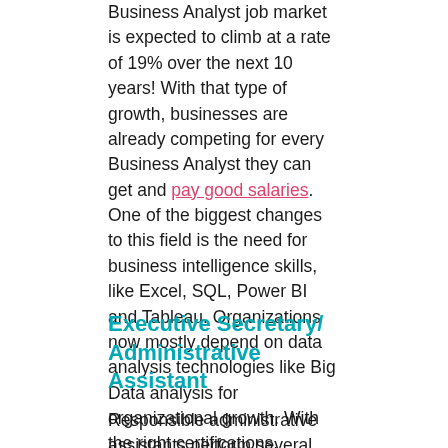Business Analyst job market is expected to climb at a rate of 19% over the next 10 years! With that type of growth, businesses are already competing for every Business Analyst they can get and pay good salaries.  One of the biggest changes to this field is the need for business intelligence skills, like Excel, SQL, Power BI and Tableau. Organizations now mostly depend on data analysis technologies like Big Data analysis for organizational growth. With the right certifications, business analysts will get the business intelligence skills they need to succeed in their careers.
Executive Secretary/ Administrative Assistant
Responsible administrative assistants perform several administrative jobs and clerical tasks. Duties